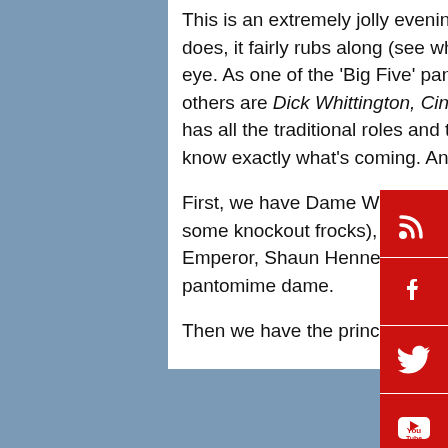This is an extremely jolly evening out. The plot takes a little while to get going but, once it does, it fairly rubs along (see what I did there?) and act two goes in the twinkle of a genie's eye. As one of the 'Big Five' pantos, which have their base in the music hall tradition, (the others are Dick Whittington, Cinderella, Jack and the Beanstalk, and Mother Goose), Aladdin has all the traditional roles and traditional rules which allow the audience to feel like they know exactly what's coming. And they do.
First, we have Dame Widow Twankey, perfectly played by Richard J Fletcher (who dons some knockout frocks), without too much allusion to the fact that he is really a man when the Emperor, Shaun Hennessy in preposterous trousers, falls madly in love with our famous pantomime dame.
Then we have the principal boy, Aladdin, a